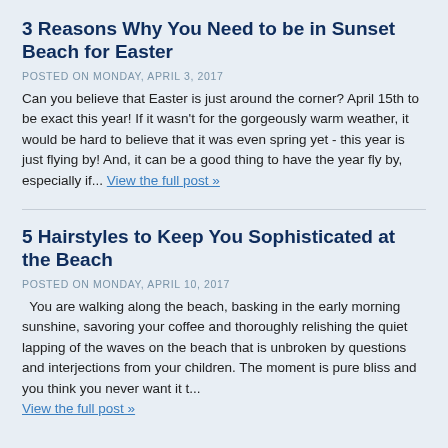3 Reasons Why You Need to be in Sunset Beach for Easter
POSTED ON MONDAY, APRIL 3, 2017
Can you believe that Easter is just around the corner? April 15th to be exact this year! If it wasn't for the gorgeously warm weather, it would be hard to believe that it was even spring yet - this year is just flying by! And, it can be a good thing to have the year fly by, especially if... View the full post »
5 Hairstyles to Keep You Sophisticated at the Beach
POSTED ON MONDAY, APRIL 10, 2017
You are walking along the beach, basking in the early morning sunshine, savoring your coffee and thoroughly relishing the quiet lapping of the waves on the beach that is unbroken by questions and interjections from your children. The moment is pure bliss and you think you never want it t... View the full post »